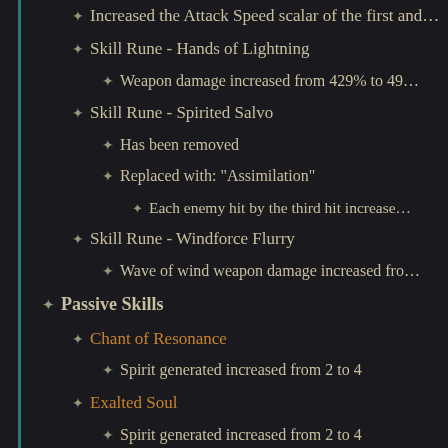Increased the Attack Speed scalar of the first and…
Skill Rune - Hands of Lightning
Weapon damage increased from 429% to 49…
Skill Rune - Spirited Salvo
Has been removed
Replaced with: "Assimilation"
Each enemy hit by the third hit increase…
Skill Rune - Windforce Flurry
Wave of wind weapon damage increased fro…
Passive Skills
Chant of Resonance
Spirit generated increased from 2 to 4
Exalted Soul
Spirit generated increased from 2 to 4
Maximum Spirit bonus reduced from 100 to 50
Guiding Light